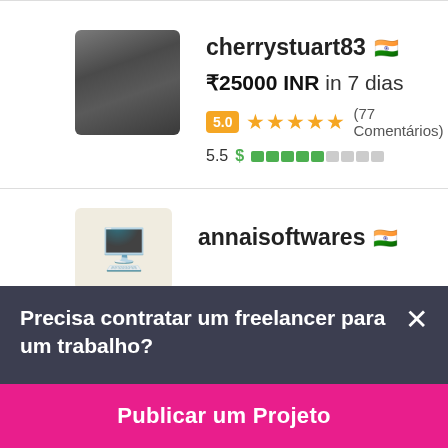[Figure (screenshot): Profile listing for cherrystuart83 showing avatar photo, Indian flag, bid amount ₹25000 INR in 7 dias, rating 5.0 with 5 stars (77 Comentários), score 5.5 with green progress bar]
cherrystuart83 🇮🇳
₹25000 INR in 7 dias
5.0 ★★★★★ (77 Comentários)
5.5 $ ▓▓▓▓▓░░░░░
annaisoftwares 🇮🇳
Precisa contratar um freelancer para um trabalho?
Publicar um Projeto